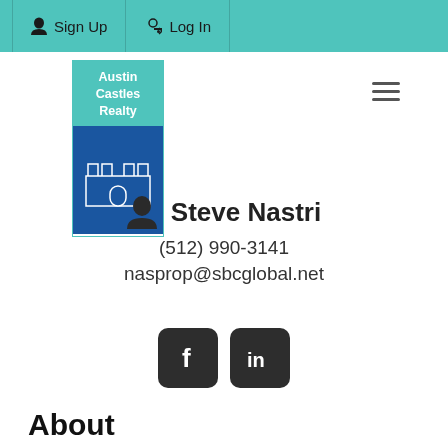Sign Up  Log In
[Figure (logo): Austin Castles Realty logo with teal text header and blue castle image]
Steve Nastri
(512) 990-3141
nasprop@sbcglobal.net
[Figure (infographic): Facebook and LinkedIn social media icons in dark rounded square buttons]
About
Home
About